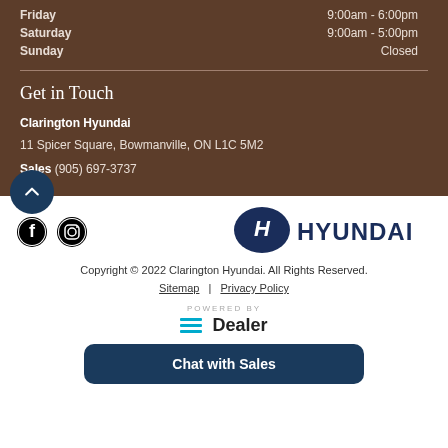Friday  9:00am - 6:00pm
Saturday  9:00am - 5:00pm
Sunday  Closed
Get in Touch
Clarington Hyundai
11 Spicer Square, Bowmanville, ON L1C 5M2
Sales  (905) 697-3737
[Figure (logo): Facebook and Instagram social media icons]
[Figure (logo): Hyundai logo with oval H emblem and HYUNDAI wordmark in navy blue]
Copyright © 2022 Clarington Hyundai. All Rights Reserved.
Sitemap | Privacy Policy
[Figure (logo): POWERED BY eDealer logo with cyan/blue horizontal lines and bold Dealer text]
Chat with Sales